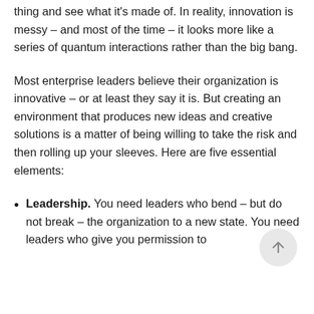thing and see what it's made of. In reality, innovation is messy – and most of the time – it looks more like a series of quantum interactions rather than the big bang.
Most enterprise leaders believe their organization is innovative – or at least they say it is. But creating an environment that produces new ideas and creative solutions is a matter of being willing to take the risk and then rolling up your sleeves. Here are five essential elements:
Leadership. You need leaders who bend – but do not break – the organization to a new state. You need leaders who give you permission to